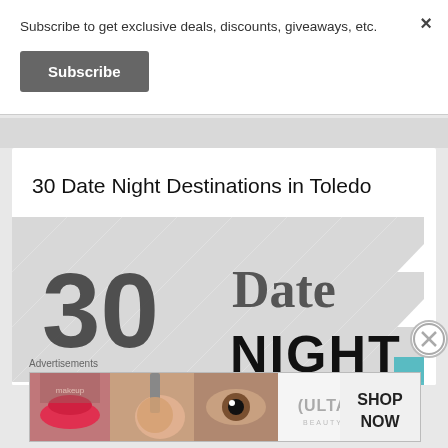Subscribe to get exclusive deals, discounts, giveaways, etc.
Subscribe
30 Date Night Destinations in Toledo
[Figure (illustration): Graphic showing '30 Date Night' in large stylized text with chevron/arrow pattern background in grey tones]
Advertisements
[Figure (illustration): Ulta beauty advertisement banner showing makeup/cosmetics imagery with 'SHOP NOW' text]